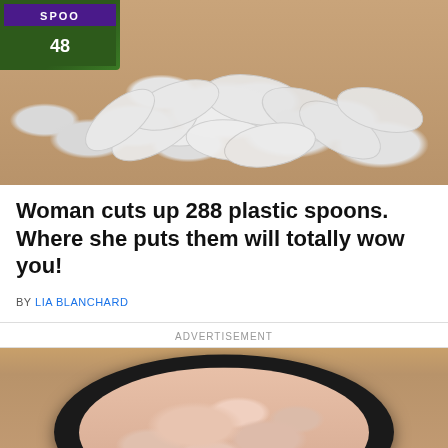[Figure (photo): Pile of white plastic spoons scattered on a wooden surface, with a green box labeled 'SPOONS 48' visible in the upper left corner]
Woman cuts up 288 plastic spoons. Where she puts them will totally wow you!
BY LIA BLANCHARD
ADVERTISEMENT
[Figure (photo): Raw chicken pieces in a black slow cooker/crock pot on a wooden surface]
© Cooktop Cove   About Ads   Terms   Privacy   Do Not Sell My Info